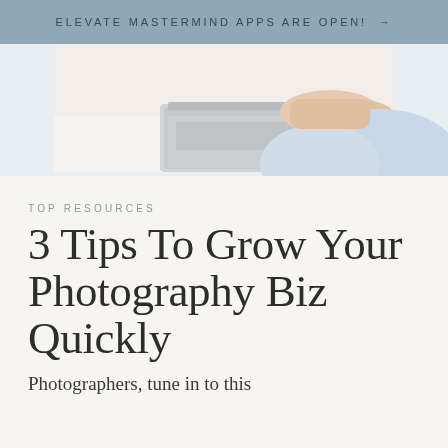ELEVATE MASTERMIND APPS ARE OPEN! →
[Figure (photo): Person in a light blue skirt using a laptop on a white table, top-down partial view showing hands and keyboard]
TOP RESOURCES
3 Tips To Grow Your Photography Biz Quickly
Photographers, tune in to this